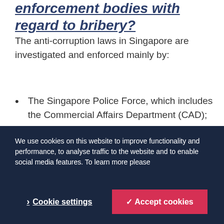enforcement bodies with regard to bribery?
The anti-corruption laws in Singapore are investigated and enforced mainly by:
The Singapore Police Force, which includes the Commercial Affairs Department (CAD);
Corrupt Practices Investigation Bureau (CPIB); and
Attorney-General's Chambers (AGC).
The CPIB is the primary anti-bribery watchdog in Singapore responsible for the investigation and prevention of corruption in the private and public sector.
We use cookies on this website to improve functionality and performance, to analyse traffic to the website and to enable social media features. To learn more please